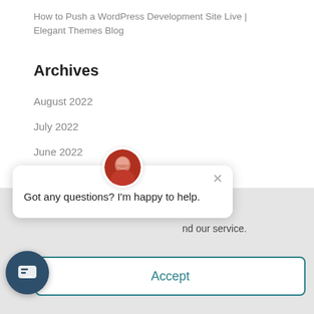How to Push a WordPress Development Site Live | Elegant Themes Blog
Archives
August 2022
July 2022
June 2022
May 2022
April 2022
[Figure (screenshot): Chat popup widget showing avatar photo, close X button, and message 'Got any questions? I'm happy to help.' overlaid on the page. Partial text visible in background: 'Consent' and 'nd our service.']
Consent
nd our service.
Accept
[Figure (other): Chat icon circle button with chat bubble icon, dark blue, bottom left]